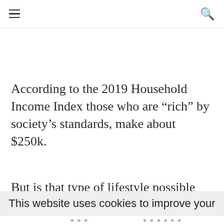≡  🔍
According to the 2019 Household Income Index those who are “rich” by society’s standards, make about $250k.
But is that type of lifestyle possible for
This website uses cookies to improve your
...